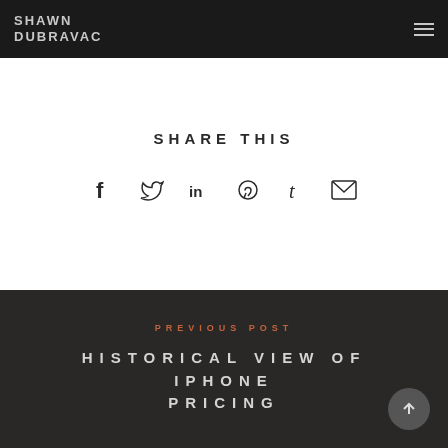SHAWN DUBRAVAC
SHARE THIS
[Figure (infographic): Social share icons: Facebook, Twitter, LinkedIn, Pinterest, Tumblr, Email]
PREVIOUS POST
HISTORICAL VIEW OF IPHONE PRICING